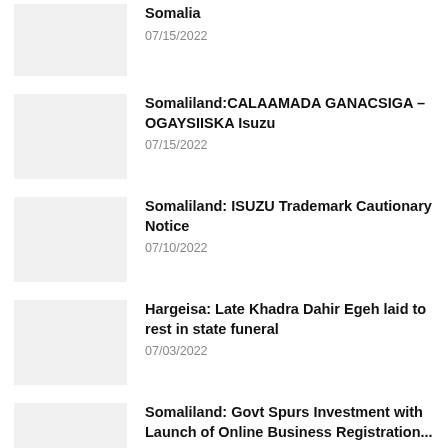Somalia
07/15/2022
Somaliland:CALAAMADA GANACSIGA – OGAYSIISKA Isuzu
07/15/2022
Somaliland: ISUZU Trademark Cautionary Notice
07/10/2022
Hargeisa: Late Khadra Dahir Egeh laid to rest in state funeral
07/03/2022
Somaliland: Govt Spurs Investment with Launch of Online Business Registration...
06/29/2022